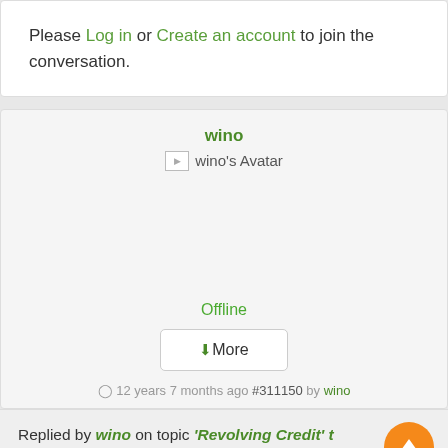Please Log in or Create an account to join the conversation.
wino
wino's Avatar
Offline
More
12 years 7 months ago #311150 by wino
Replied by wino on topic 'Revolving Credit' t… mortages - anyone done or doing this?